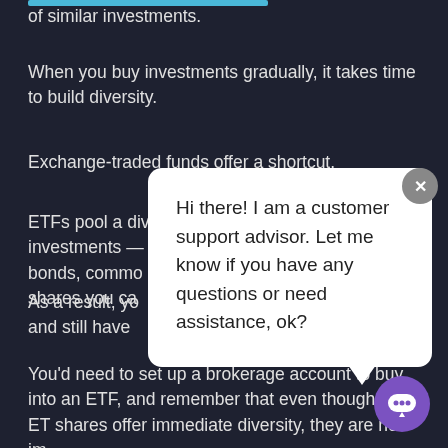of similar investments.
When you buy investments gradually, it takes time to build diversity.
Exchange-traded funds offer a shortcut.
ETFs pool a diverse array of investments — as stoc bonds, commo shares you ca
As a result, yo and still have
[Figure (screenshot): Chat popup overlay with text: Hi there! I am a customer support advisor. Let me know if you have any questions or need assistance, ok? With a close X button and a purple chat bot icon button at bottom right.]
You'd need to set up a brokerage account to buy into an ETF, and remember that even though your ET shares offer immediate diversity, they are not imm from loss.